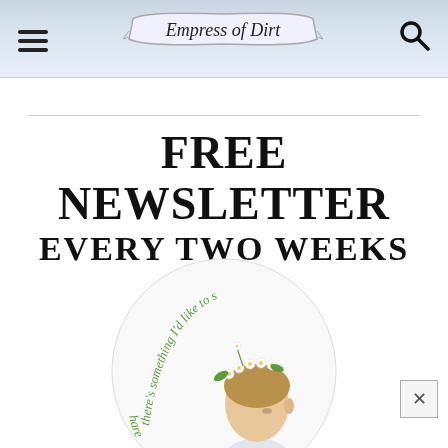Empress of Dirt
FREE NEWSLETTER EVERY TWO WEEKS
[Figure (illustration): A circular illustration showing a person with a flower crown made of daisies, head bowed, with cursive green text reading 'there's something I'd like to s...' curving around the inside of the circle.]